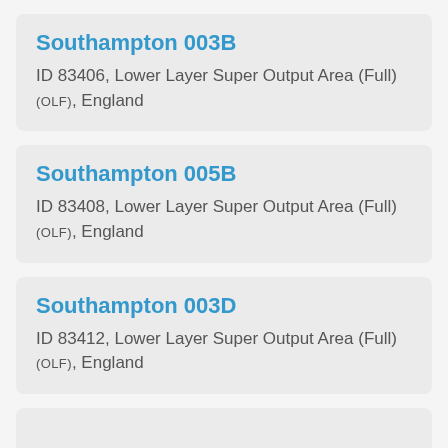Southampton 003B
ID 83406, Lower Layer Super Output Area (Full) (OLF), England
Southampton 005B
ID 83408, Lower Layer Super Output Area (Full) (OLF), England
Southampton 003D
ID 83412, Lower Layer Super Output Area (Full) (OLF), England